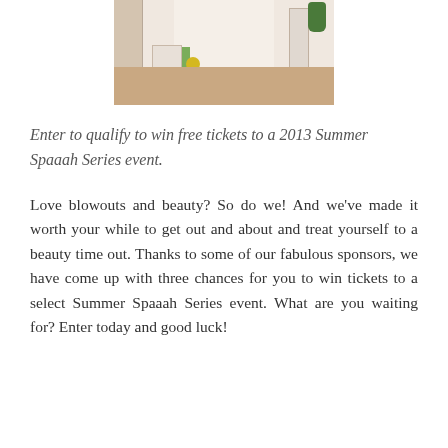[Figure (photo): Interior of a spa or beauty salon with white and light-toned decor, chairs, a yellow side table, plants, shelving with products, and a decorative vase]
Enter to qualify to win free tickets to a 2013 Summer Spaaah Series event.
Love blowouts and beauty? So do we! And we've made it worth your while to get out and about and treat yourself to a beauty time out. Thanks to some of our fabulous sponsors, we have come up with three chances for you to win tickets to a select Summer Spaaah Series event. What are you waiting for? Enter today and good luck!